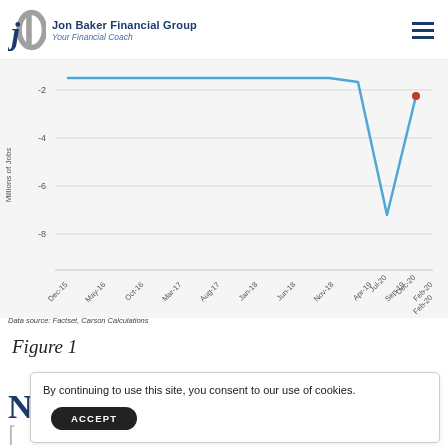Jon Baker Financial Group — Your Financial Coach
[Figure (continuous-plot): Line chart showing monthly job changes in millions from Dec-15 to Dec-20. The line is flat near 0 from Dec-15 through Feb-20, then drops sharply to approximately -7 at Jul-20, then recovers to approximately -1.5 to -2 at Dec-20. A red dot marks the most recent data point near Dec-20.]
Data source: Factset, Carson Calculations
Figure 1
By continuing to use this site, you consent to our use of cookies.